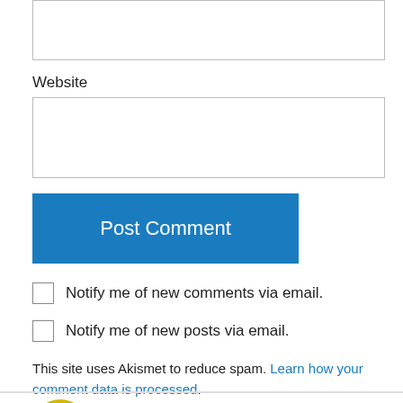[Figure (other): Empty text input box at top of page (partial, cropped)]
Website
[Figure (other): Website text input box]
Post Comment
Notify me of new comments via email.
Notify me of new posts via email.
This site uses Akismet to reduce spam. Learn how your comment data is processed.
Lea S. on July 24, 2016 at 3:19 pm